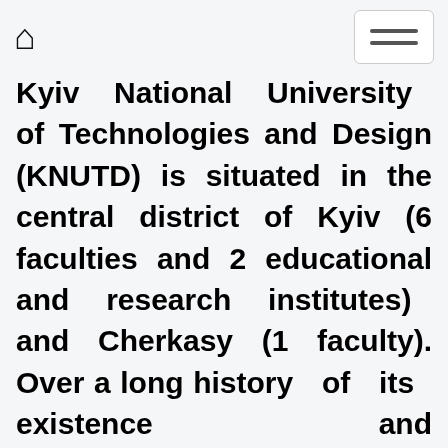[Home icon] [Menu button]
Kyiv National University of Technologies and Design (KNUTD) is situated in the central district of Kyiv (6 faculties and 2 educational and research institutes) and Cherkasy (1 faculty). Over a long history of its existence and development, the University has formed a powerful material and technical base located on the land